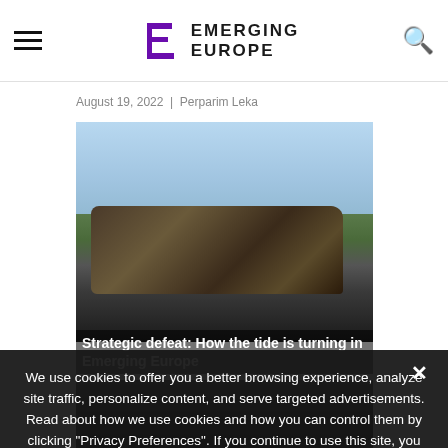EMERGING EUROPE
August 19, 2022  |  Perparim Leka
[Figure (photo): Photo of destroyed/burnt military equipment wreckage on a road with utility poles and green vegetation in the background under a partly cloudy sky]
Strategic defeat: How the tide is turning in Emerging Europe
We use cookies to offer you a better browsing experience, analyze site traffic, personalize content, and serve targeted advertisements. Read about how we use cookies and how you can control them by clicking "Privacy Preferences". If you continue to use this site, you consent to our use of cookies. More...